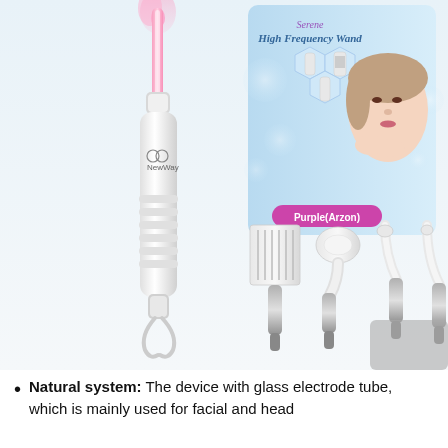[Figure (photo): Product photo of a NewWay High Frequency Wand beauty device. Left side shows a white handheld wand with a textured grip and a pink glowing glass electrode tube inserted at the top. Right side shows the product packaging box with 'High Frequency Wand' text and an image of a woman touching her face. Below are four glass electrode attachments: a comb/rake electrode, a mushroom/round electrode, a bent tube electrode, and a bent hook electrode, all with silver metal bases.]
Natural system: The device with glass electrode tube, which is mainly used for facial and head